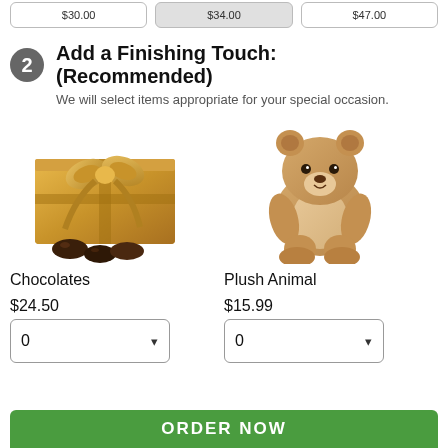[Figure (screenshot): Three partially visible price/selection buttons at the top of the page showing prices like $30.00, $34.00, $47.00]
2 Add a Finishing Touch: (Recommended)
We will select items appropriate for your special occasion.
[Figure (photo): Gold chocolate gift box with bow and chocolate truffles]
[Figure (photo): Brown plush teddy bear sitting]
Chocolates
Plush Animal
$24.50
$15.99
ORDER NOW